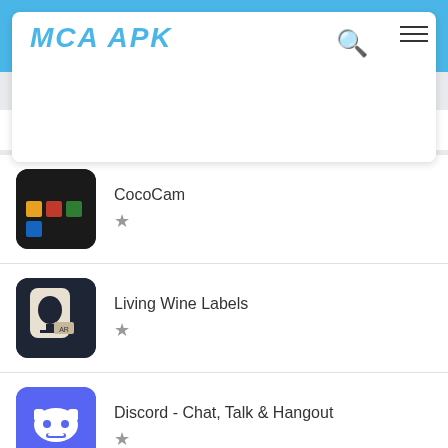MCA APK
Latest Applications
CocoCam ★
Living Wine Labels ★
Discord - Chat, Talk & Hangout ★
VPN Owl ★